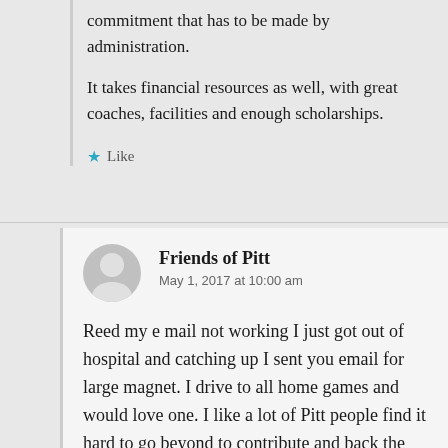commitment that has to be made by administration.

It takes financial resources as well, with great coaches, facilities and enough scholarships.
Like
Friends of Pitt
May 1, 2017 at 10:00 am
Reed my e mail not working I just got out of hospital and catching up I sent you email for large magnet. I drive to all home games and would love one. I like a lot of Pitt people find it hard to go beyond to contribute and back the programs when it seems like we are the only ones who care. Very little support from